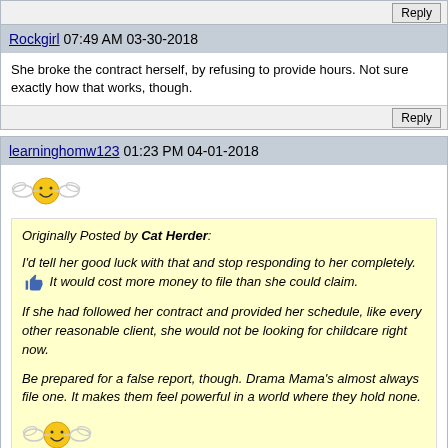Reply button at top
Rockgirl 07:49 AM 03-30-2018
She broke the contract herself, by refusing to provide hours. Not sure exactly how that works, though.
Reply
learninghomw123 01:23 PM 04-01-2018
Originally Posted by Cat Herder: I'd tell her good luck with that and stop responding to her completely. It would cost more money to file than she could claim. If she had followed her contract and provided her schedule, like every other reasonable client, she would not be looking for childcare right now. Be prepared for a false report, though. Drama Mama's almost always file one. It makes them feel powerful in a world where they hold none.
Reply
learninghomw123 01:25 PM 04-01-2018